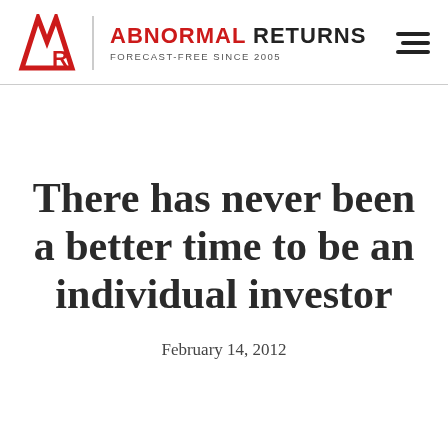ABNORMAL RETURNS — FORECAST-FREE SINCE 2005
There has never been a better time to be an individual investor
February 14, 2012